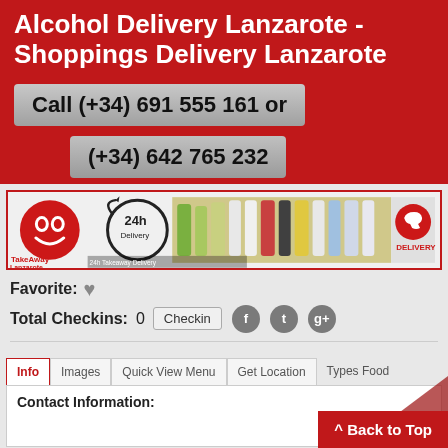Alcohol Delivery Lanzarote - Shoppings Delivery Lanzarote
Call  (+34) 691 555 161 or (+34) 642 765 232
[Figure (photo): TakeAway Lanzarote 24h delivery advertisement banner with logo, delivery badge, alcohol bottles, and delivery phone icon]
Favorite:  ♥
Total Checkins:  0   Checkin
Info  Images  Quick View Menu  Get Location  Types Food
Contact Information:
^ Back to Top